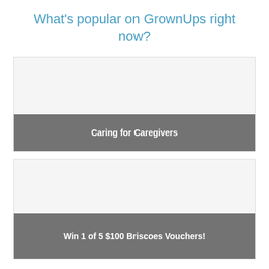What's popular on GrownUps right now?
[Figure (other): Card with image placeholder and grey label bar reading 'Caring for Caregivers']
[Figure (other): Card with image placeholder and grey label bar reading 'Win 1 of 5 $100 Briscoes Vouchers!']